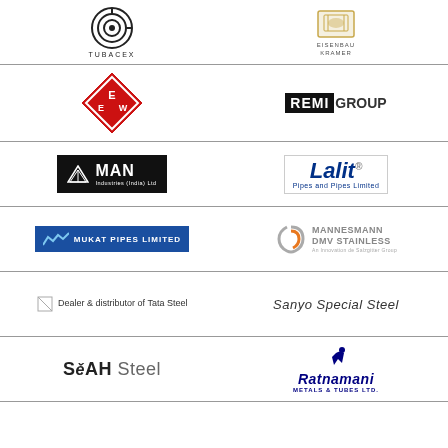[Figure (logo): Tubacex logo - spiral circle mark with TUBACEX text below]
[Figure (logo): Eisenbau Kramer logo - cylindrical pipes mark with EISENBAU KRAMER text]
[Figure (logo): EEW diamond logo - red diamond with E W letters]
[Figure (logo): REMI GROUP logo - black box REMI text with GROUP]
[Figure (logo): MAN Industries (India) Ltd logo - white mountain mark on black background]
[Figure (logo): Lalit Pipes and Pipes Limited logo - italic blue Lalit with registered mark]
[Figure (logo): Mukat Pipes Limited logo - blue background with mountain waveform]
[Figure (logo): Dealer & distributor of Tata Steel text]
[Figure (logo): Mannesmann DMV Stainless logo - orange/grey swirl mark]
[Figure (logo): Sanyo Special Steel logo - italic text]
[Figure (logo): SeAH Steel logo - bold stylized text]
[Figure (logo): Ratnamani Metals & Tubes Ltd logo - running figure mark with text]